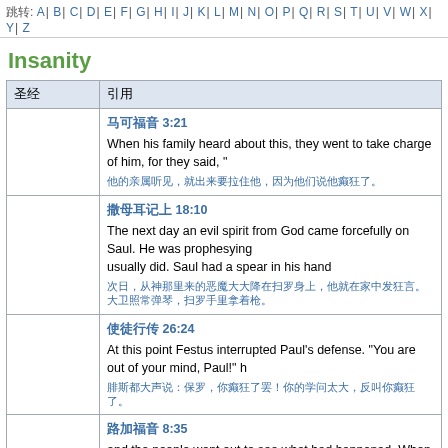跳转: A|B|C|D|E|F|G|H|I|J|K|L|M|N|O|P|Q|R|S|T|U|V|W|X|Y|Z
Insanity
| 圣经 | 引用 |
| --- | --- |
|  | 马可福音 3:21
When his family heard about this, they went to take charge of him, for they said, "..."
他的亲属听见，就出来要拉住他，因为他们说他癫狂了。 |
|  | 撒母耳记上 18:10
The next day an evil spirit from God came forcefully on Saul. He was prophesying... usually did. Saul had a spear in his hand
次日，从神那里来的恶魔大大降在扫罗身上，他就在家中发狂言。大卫照常弹琴，扫罗手里拿着枪。 |
|  | 使徒行传 26:24
At this point Festus interrupted Paul's defense. "You are out of your mind, Paul!"...
腓斯都大声说：保罗，你癫狂了罢！你的学问太大，反叫你癫狂了。 |
|  | 路加福音 8:35
and the people went out to see what had happened. When they came to Jesus, they... sitting at Jesus' feet, dressed and in his right mind; and they were afraid.
众人出来，要看是什么事，到了耶稣那里，看见鬼所离开的那人，坐在耶稣脚前，穿着衣服，心里明白过来，他们就害怕。 |